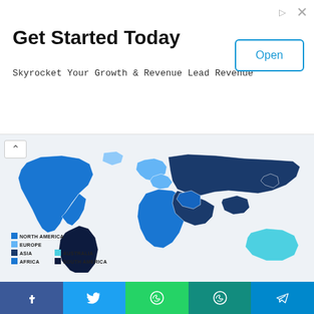Get Started Today
Skyrocket Your Growth & Revenue Lead Revenue
[Figure (map): World map showing regional color-coding for North America (medium blue), Europe (light blue), Asia (dark navy), Africa (medium blue), South America (very dark navy), and Australia (light cyan). Legend with colored squares for: NORTH AMERICA, EUROPE, ASIA, AFRICA, SOUTH AMERICA, AUSTRALIA.]
Key Question Answered in Marketing Automation Solutions Market Report.